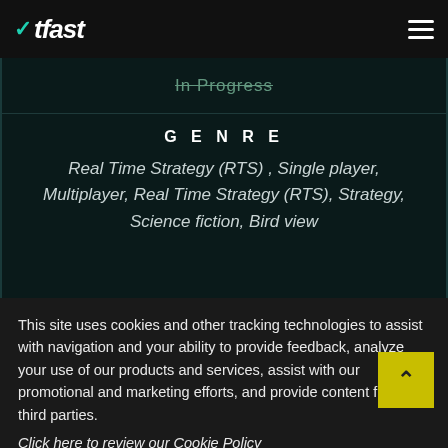WTFast
In Progress
GENRE
Real Time Strategy (RTS) , Single player, Multiplayer, Real Time Strategy (RTS), Strategy, Science fiction, Bird view
This site uses cookies and other tracking technologies to assist with navigation and your ability to provide feedback, analyze your use of our products and services, assist with our promotional and marketing efforts, and provide content from third parties.
Click here to review our Cookie Policy
ACCEPT ALL
Accept mandatory and performance